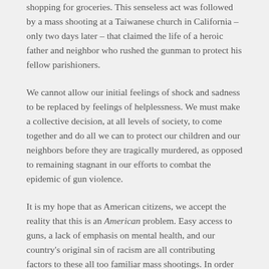shopping for groceries. This senseless act was followed by a mass shooting at a Taiwanese church in California – only two days later – that claimed the life of a heroic father and neighbor who rushed the gunman to protect his fellow parishioners.
We cannot allow our initial feelings of shock and sadness to be replaced by feelings of helplessness. We must make a collective decision, at all levels of society, to come together and do all we can to protect our children and our neighbors before they are tragically murdered, as opposed to remaining stagnant in our efforts to combat the epidemic of gun violence.
It is my hope that as American citizens, we accept the reality that this is an American problem. Easy access to guns, a lack of emphasis on mental health, and our country's original sin of racism are all contributing factors to these all too familiar mass shootings. In order to address the root cause of these tragedies, actionable measures such as an increase in the provision of mental health services, sensible gun regulations, and the teaching of Critical Race Theory to our children – in an effort to create a better